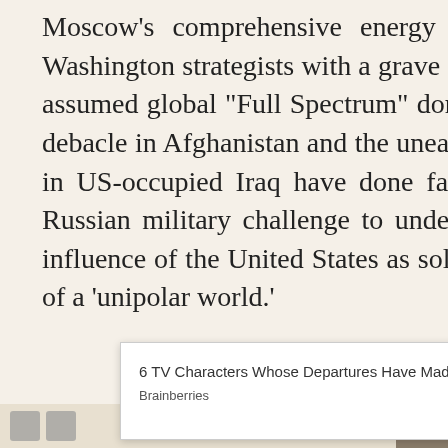Moscow’s comprehensive energy politics, present Washington strategists with a grave challenge to their assumed global “Full Spectrum” dominance. The US debacle in Afghanistan and the uneasy state of affairs in US-occupied Iraq have done far more than any Russian military challenge to undermine the global influence of the United States as sole decision maker of a ‘unipolar world.’
F. William Engdahl
[Figure (screenshot): Advertisement overlay: '6 TV Characters Whose Departures Have Made The Shows Better' from Brainberries, with PurpleAds branding and a close button (×)]
Icons and back-to-top button